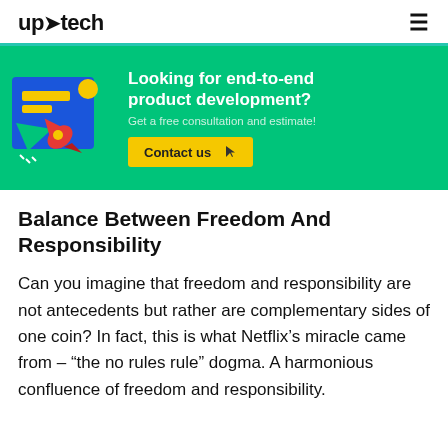uptech
[Figure (infographic): Green banner advertisement for Uptech end-to-end product development with a rocket illustration on a blue background, headline 'Looking for end-to-end product development?', subtext 'Get a free consultation and estimate!', and a yellow 'Contact us' button with a cursor icon.]
Balance Between Freedom And Responsibility
Can you imagine that freedom and responsibility are not antecedents but rather are complementary sides of one coin? In fact, this is what Netflix’s miracle came from – “the no rules rule” dogma. A harmonious confluence of freedom and responsibility.